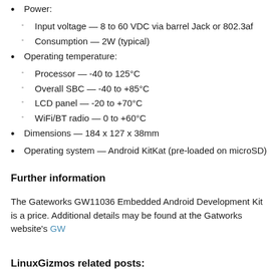Power:
Input voltage — 8 to 60 VDC via barrel Jack or 802.3af
Consumption — 2W (typical)
Operating temperature:
Processor — -40 to 125°C
Overall SBC — -40 to +85°C
LCD panel — -20 to +70°C
WiFi/BT radio — 0 to +60°C
Dimensions — 184 x 127 x 38mm
Operating system — Android KitKat (pre-loaded on microSD)
Further information
The Gateworks GW11036 Embedded Android Development Kit is a price. Additional details may be found at the Gatworks website's GW
LinuxGizmos related posts:
Tiny module and dev kit can run with Mini or Nano